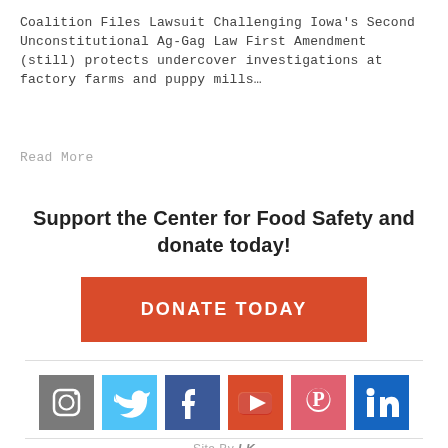Coalition Files Lawsuit Challenging Iowa's Second Unconstitutional Ag-Gag Law First Amendment (still) protects undercover investigations at factory farms and puppy mills…
Read More
Support the Center for Food Safety and donate today!
[Figure (other): Orange/red donate button with white text reading DONATE TODAY]
[Figure (other): Social media icons row: Instagram (grey), Twitter (light blue), Facebook (dark blue), YouTube (red-orange), Pinterest (pink-red), LinkedIn (dark blue)]
Site By LK